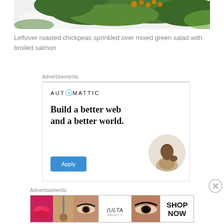[Figure (photo): Top portion of a food photo showing mixed green salad with roasted chickpeas and broiled salmon on a white plate]
Leftover roasted chickpeas sprinkled over mixed green salad with broiled salmon
Advertisements
[Figure (screenshot): Automattic advertisement: 'Build a better web and a better world.' with an Apply button and a circular photo of a man thinking]
Advertisements
[Figure (screenshot): ULTA beauty advertisement banner showing lips, makeup brush, eye makeup looks, ULTA logo, and SHOP NOW text]